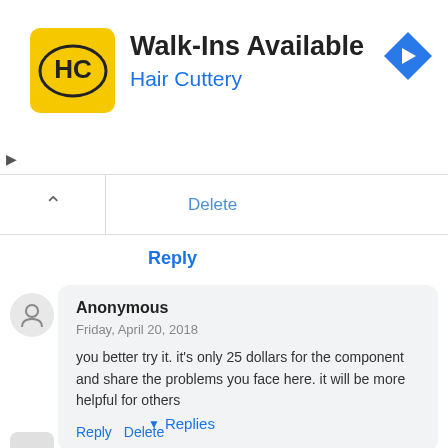[Figure (advertisement): Hair Cuttery ad banner: yellow square logo with HC text, Walk-Ins Available heading, Hair Cuttery subheading in blue, blue diamond navigation arrow icon on right]
Delete
Reply
Anonymous
Friday, April 20, 2018
you better try it. it's only 25 dollars for the component and share the problems you face here. it will be more helpful for others
Reply  Delete
▾ Replies